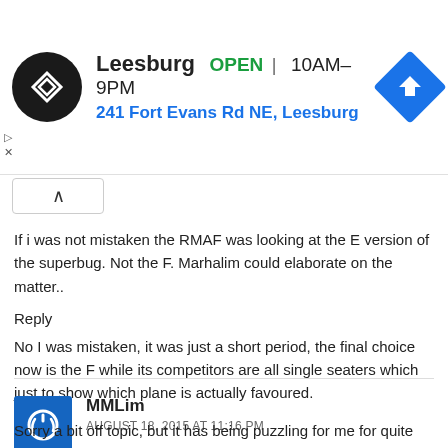[Figure (infographic): Advertisement banner for a store in Leesburg showing logo, OPEN status, hours 10AM-9PM, address 241 Fort Evans Rd NE Leesburg, and navigation icon]
If i was not mistaken the RMAF was looking at the E version of the superbug. Not the F. Marhalim could elaborate on the matter..
Reply
No I was mistaken, it was just a short period, the final choice now is the F while its competitors are all single seaters which just to show which plane is actually favoured.
[Figure (illustration): MMLim commenter avatar - blue square with power button icon]
MMLim
AUGUST 18, 2015 AT 11:16 PM
Sorry a bit off topic, but it has being puzzling for me for quite